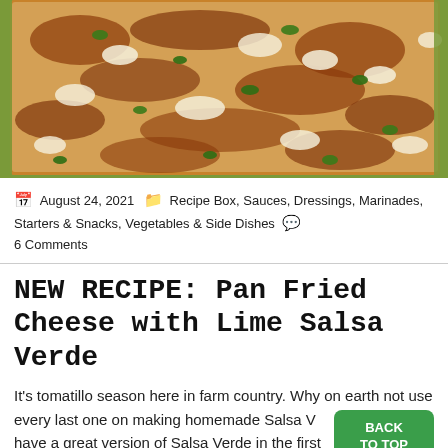[Figure (photo): Close-up photo of pan fried cheese with a golden brown crispy top, garnished with chopped green herbs (cilantro), served in a baking dish with green salsa verde visible around the edges.]
August 24, 2021   Recipe Box, Sauces, Dressings, Marinades, Starters & Snacks, Vegetables & Side Dishes   6 Comments
NEW RECIPE: Pan Fried Cheese with Lime Salsa Verde
It's tomatillo season here in farm country. Why on earth not use every last one on making homemade Salsa Verde s, I have a great version of Salsa Verde in the first .